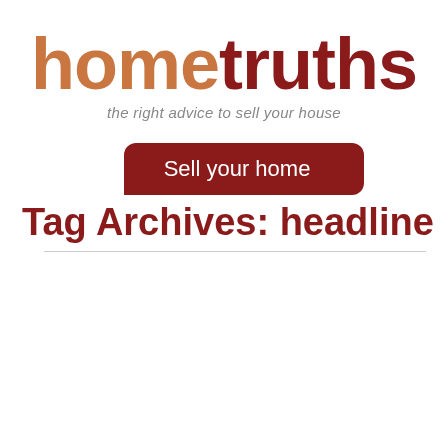hometruths
the right advice to sell your house
Sell your home
Tag Archives: headline